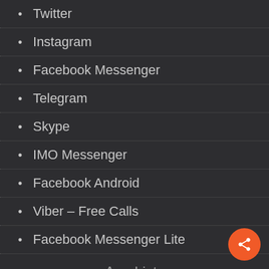Twitter
Instagram
Facebook Messenger
Telegram
Skype
IMO Messenger
Facebook Android
Viber – Free Calls
Facebook Messenger Lite
App Lists
10 Best Android Apps